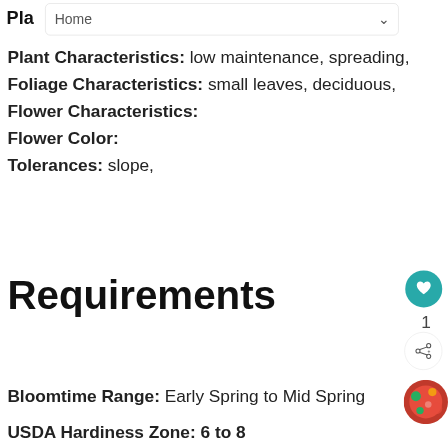Home
Plant Characteristics: low maintenance, spreading,
Foliage Characteristics: small leaves, deciduous,
Flower Characteristics:
Flower Color:
Tolerances: slope,
Requirements
Bloomtime Range: Early Spring to Mid Spring
USDA Hardiness Zone: 6 to 8